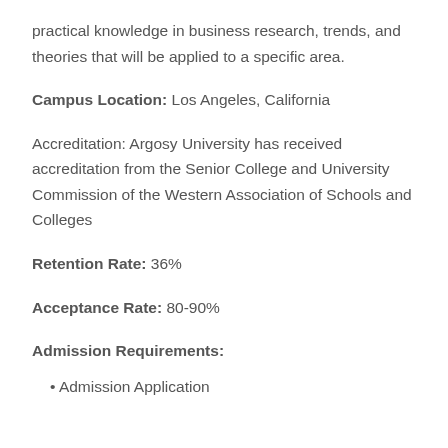practical knowledge in business research, trends, and theories that will be applied to a specific area.
Campus Location: Los Angeles, California
Accreditation: Argosy University has received accreditation from the Senior College and University Commission of the Western Association of Schools and Colleges
Retention Rate: 36%
Acceptance Rate: 80-90%
Admission Requirements:
Admission Application